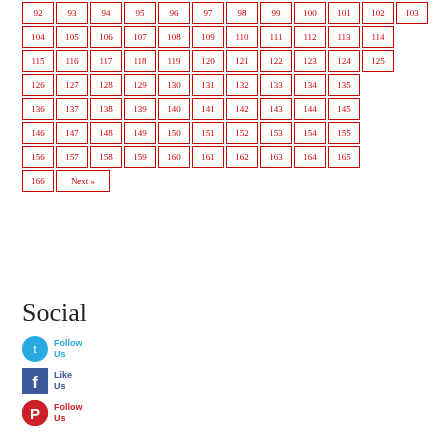92 93 94 95 96 97 98 99 100 101 102 103
104 105 106 107 108 109 110 111 112 113 114
115 116 117 118 119 120 121 122 123 124 125
126 127 128 129 130 131 132 133 134 135
136 137 138 139 140 141 142 143 144 145
146 147 148 149 150 151 152 153 154 155
156 157 158 159 160 161 162 163 164 165
166 Next »
Social
Follow Us
Like Us
Follow Us